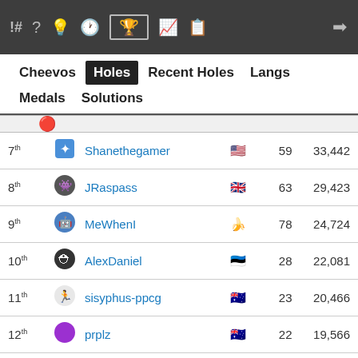Navigation bar with icons: !# ? lightbulb clock trophy chart notepad | login
Cheevos | Holes | Recent Holes | Langs | Medals | Solutions
| Rank | Avatar | Username | Flag | Holes | Score |
| --- | --- | --- | --- | --- | --- |
| 7th |  | Shanethegamer | 🇺🇸 | 59 | 33,442 |
| 8th |  | JRaspass | 🇬🇧 | 63 | 29,423 |
| 9th |  | MeWhenI | 🇧🇳 | 78 | 24,724 |
| 10th |  | AlexDaniel | 🇪🇪 | 28 | 22,081 |
| 11th |  | sisyphus-ppcg | 🇦🇺 | 23 | 20,466 |
| 12th |  | prplz | 🇦🇺 | 22 | 19,566 |
| 13th |  | Lydxn | 🇨🇦 | 19 | 18,670 |
| 14th |  | yokasuretsu |  | 34 | 18,125 |
| 15th |  | RustemB | 🇷🇺 | 40 | 16,997 |
| 16th |  | thospol |  | 18 | 16,397 |